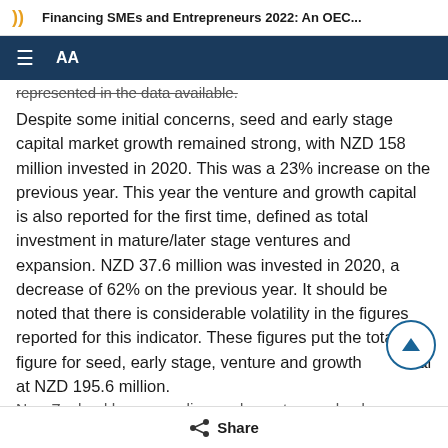Financing SMEs and Entrepreneurs 2022: An OEC...
represented in the data available.
Despite some initial concerns, seed and early stage capital market growth remained strong, with NZD 158 million invested in 2020. This was a 23% increase on the previous year. This year the venture and growth capital is also reported for the first time, defined as total investment in mature/later stage ventures and expansion. NZD 37.6 million was invested in 2020, a decrease of 62% on the previous year. It should be noted that there is considerable volatility in the figures reported for this indicator. These figures put the total figure for seed, early stage, venture and growth capital at NZD 195.6 million.
New Zealand has seven licensed peer to peer lenders